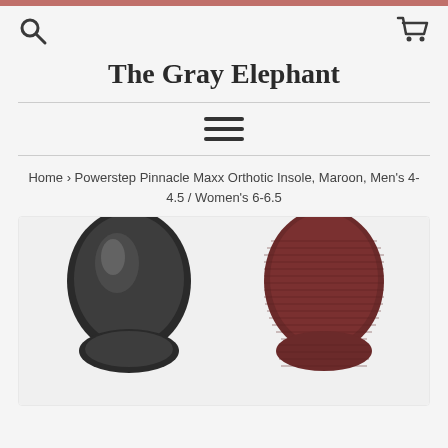The Gray Elephant
Home › Powerstep Pinnacle Maxx Orthotic Insole, Maroon, Men's 4-4.5 / Women's 6-6.5
[Figure (photo): Two orthotic insoles side by side: left insole shows the dark gray/black bottom/shell side, right insole shows the maroon fabric top surface. Both are toe/heel insole shapes photographed from above.]